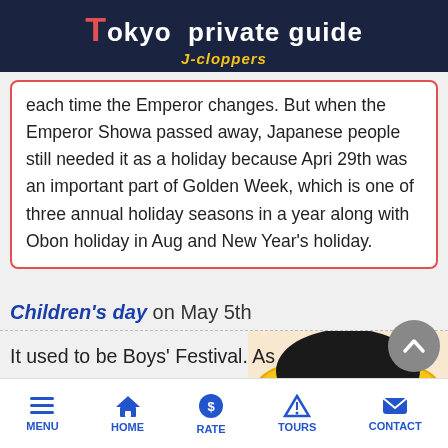Tokyo private guide J-cloppers
each time the Emperor changes. But when the Emperor Showa passed away, Japanese people still needed it as a holiday because Apri 29th was an important part of Golden Week, which is one of three annual holiday seasons in a year along with Obon holiday in Aug and New Year's holiday.
Children's day on May 5th
It used to be Boys' Festival. As it is registered as a national
[Figure (illustration): Cartoon illustration of a child wearing a samurai helmet (kabuto) in yellow and black]
MENU  HOME  RATE  TOURS  CONTACT